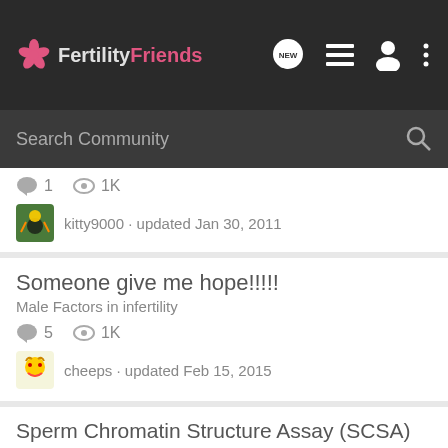FertilityFriends
Search Community
1  1K
kitty9000 · updated Jan 30, 2011
Someone give me hope!!!!!
Male Factors in infertility
5  1K
cheeps · updated Feb 15, 2015
Sperm Chromatin Structure Assay (SCSA)
Czech Republic
14  3K